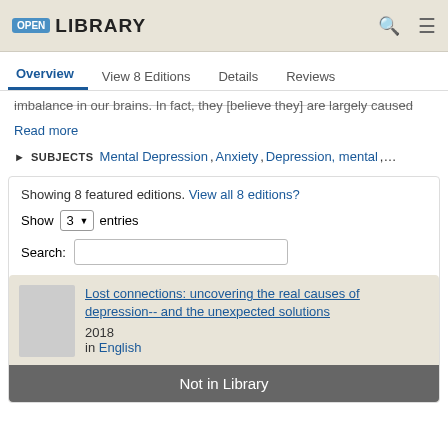OPEN LIBRARY
Overview  View 8 Editions  Details  Reviews
imbalance in our brains. In fact, they [believe they] are largely caused
Read more
SUBJECTS Mental Depression, Anxiety, Depression, mental,…
Showing 8 featured editions. View all 8 editions?
Show 3 entries
Search:
Lost connections: uncovering the real causes of depression-- and the unexpected solutions
2018
in English
Not in Library